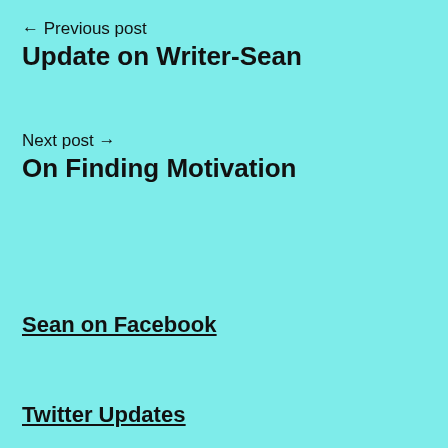← Previous post
Update on Writer-Sean
Next post →
On Finding Motivation
Sean on Facebook
Twitter Updates